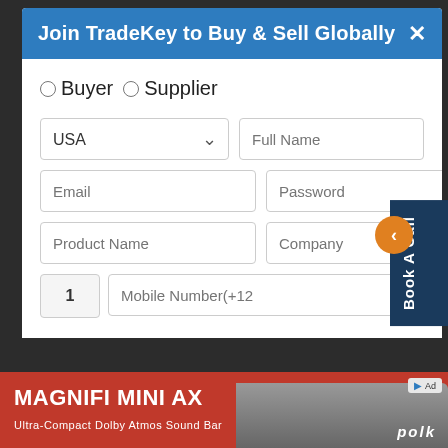Join TradeKey to Buy & Sell Globally
[Figure (screenshot): Registration form with radio buttons for Buyer/Supplier, dropdown for USA country selection, and fields for Full Name, Email, Password, Product Name, Company, and Mobile Number]
[Figure (infographic): Book A Call side tab with orange arrow button]
[Figure (photo): Advertisement banner for MAGNIFI MINI AX - Ultra-Compact Dolby Atmos Sound Bar by Polk]
MAGNIFI MINI AX
Ultra-Compact Dolby Atmos Sound Bar